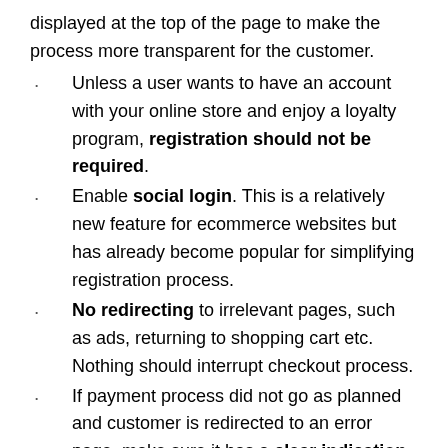displayed at the top of the page to make the process more transparent for the customer.
Unless a user wants to have an account with your online store and enjoy a loyalty program, registration should not be required.
Enable social login. This is a relatively new feature for ecommerce websites but has already become popular for simplifying registration process.
No redirecting to irrelevant pages, such as ads, returning to shopping cart etc. Nothing should interrupt checkout process.
If payment process did not go as planned and customer is redirected to an error page, make sure it has a clear indication why the purchase cannot be completed (customer entered incorrect data or there is a credit card issue).